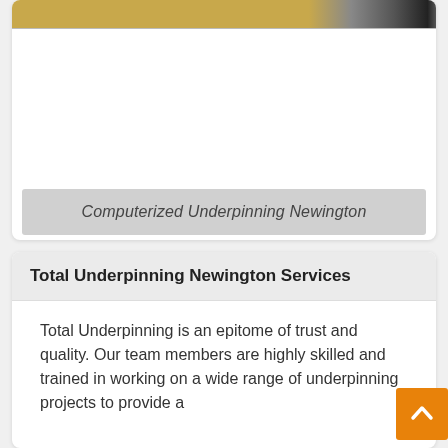[Figure (photo): Partial view of a construction/underpinning site image with a golden-brown and dark color strip at top]
Computerized Underpinning Newington
Total Underpinning Newington Services
Total Underpinning is an epitome of trust and quality. Our team members are highly skilled and trained in working on a wide range of underpinning projects to provide a